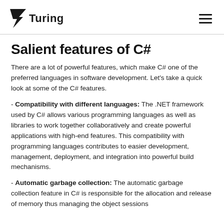Turing
Salient features of C#
There are a lot of powerful features, which make C# one of the preferred languages in software development. Let's take a quick look at some of the C# features.
- Compatibility with different languages: The .NET framework used by C# allows various programming languages as well as libraries to work together collaboratively and create powerful applications with high-end features. This compatibility with programming languages contributes to easier development, management, deployment, and integration into powerful build mechanisms.
- Automatic garbage collection: The automatic garbage collection feature in C# is responsible for the allocation and release of memory thus managing the object sessions